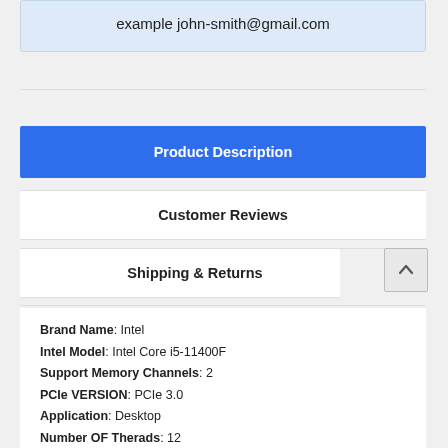example john-smith@gmail.com
Product Description
Customer Reviews
Shipping & Returns
Brand Name: Intel
Intel Model: Intel Core i5-11400F
Support Memory Channels: 2
PCIe VERSION: PCIe 3.0
Application: Desktop
Number OF Therads: 12
Usage Scenario: Others
Support Memory Type: DDR4